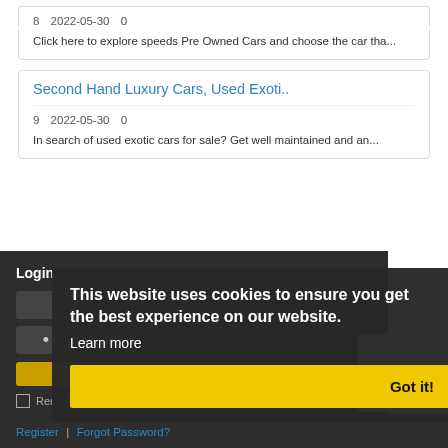8  2022-05-30  0
Click here to explore speeds Pre Owned Cars and choose the car tha...
Second Hand Luxury Cars, Used Exoti..
9  2022-05-30  0
In search of used exotic cars for sale? Get well maintained and an...
Login
This website uses cookies to ensure you get the best experience on our website.
Learn more
Got it!
Password
Remember Me
Register | Forgot Password?